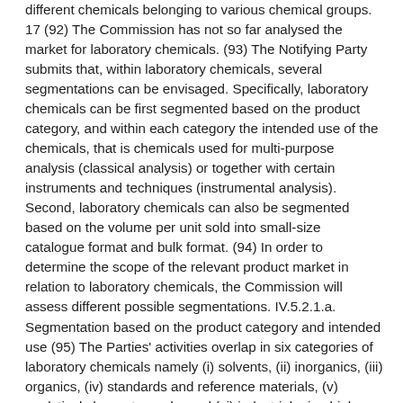different chemicals belonging to various chemical groups. 17 (92) The Commission has not so far analysed the market for laboratory chemicals. (93) The Notifying Party submits that, within laboratory chemicals, several segmentations can be envisaged. Specifically, laboratory chemicals can be first segmented based on the product category, and within each category the intended use of the chemicals, that is chemicals used for multi-purpose analysis (classical analysis) or together with certain instruments and techniques (instrumental analysis). Second, laboratory chemicals can also be segmented based on the volume per unit sold into small-size catalogue format and bulk format. (94) In order to determine the scope of the relevant product market in relation to laboratory chemicals, the Commission will assess different possible segmentations. IV.5.2.1.a. Segmentation based on the product category and intended use (95) The Parties' activities overlap in six categories of laboratory chemicals namely (i) solvents, (ii) inorganics, (iii) organics, (iv) standards and reference materials, (v) analytical chromatography and (vi) industrial microbiology. Solvents (96) In life sciences, analysis or synthesis of any given material may require the use of a solvent. Solvents are used to dissolve the target substance